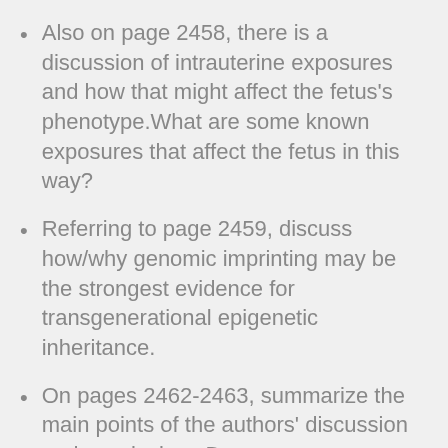Also on page 2458, there is a discussion of intrauterine exposures and how that might affect the fetus's phenotype.What are some known exposures that affect the fetus in this way?
Referring to page 2459, discuss how/why genomic imprinting may be the strongest evidence for transgenerational epigenetic inheritance.
On pages 2462-2463, summarize the main points of the authors' discussion and conclusions.Does transgenerational epigenetic inheritance exist?What might be some limitations of studying this in humans?
Using the RMU Library database system,